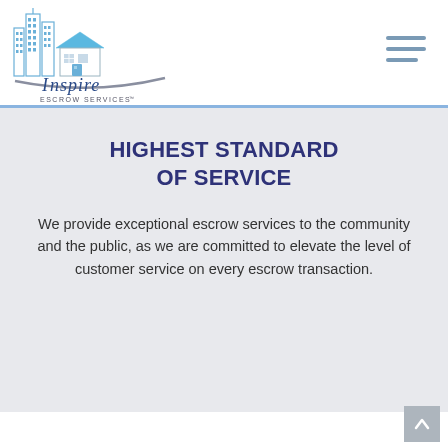[Figure (logo): Inspire Escrow Services logo with city buildings and house illustration in blue and gray tones]
HIGHEST STANDARD OF SERVICE
We provide exceptional escrow services to the community and the public, as we are committed to elevate the level of customer service on every escrow transaction.